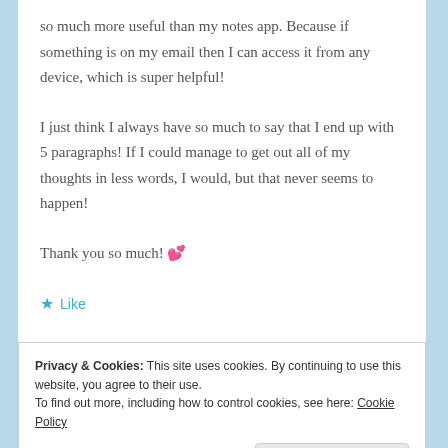so much more useful than my notes app. Because if something is on my email then I can access it from any device, which is super helpful!
I just think I always have so much to say that I end up with 5 paragraphs! If I could manage to get out all of my thoughts in less words, I would, but that never seems to happen!
Thank you so much! 💕
★ Like
Privacy & Cookies: This site uses cookies. By continuing to use this website, you agree to their use.
To find out more, including how to control cookies, see here: Cookie Policy
Close and accept